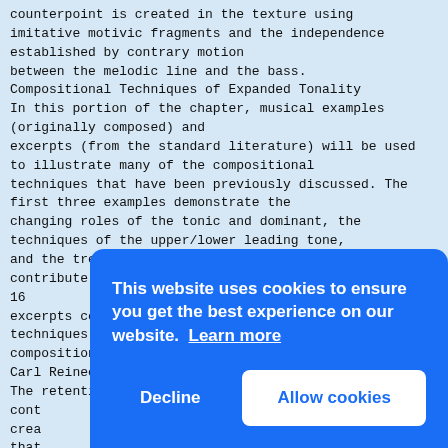counterpoint is created in the texture using imitative motivic fragments and the independence established by contrary motion between the melodic line and the bass. Compositional Techniques of Expanded Tonality In this portion of the chapter, musical examples (originally composed) and excerpts (from the standard literature) will be used to illustrate many of the compositional techniques that have been previously discussed. The first three examples demonstrate the changing roles of the tonic and dominant, the techniques of the upper/lower leading tone, and the treatment of tonic substitution that contribute to these functions. The additional 16 excerpts contain other significant compositional techniques that appear in selected compositions by Johannes Brahms, Robert Schumann, and Carl Reinecke. The retention of tonic as a pitch in various harmonic cont crea that belo mm. Brah mino harm It s pitc tone; however, it is not always the root of the chord. The presence of the tonic pitch
This website uses cookies to ensure you get the best experience on our website.  Learn more
Decline    Allow cookies